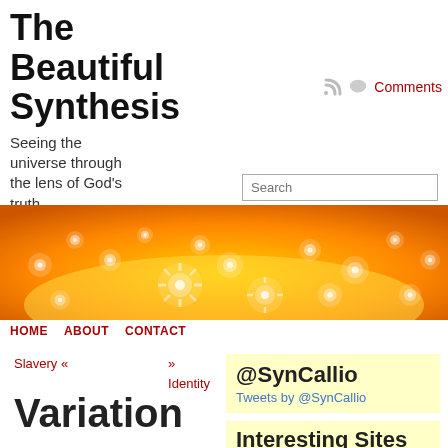The Beautiful Synthesis
Seeing the universe through the lens of God's truth
Comments
Search
[Figure (illustration): Orange and yellow fractal banner image with white flower-like patterns]
HOME   ABOUT   CONTACT
Slavery «    »
Identity
@SynCallio
Tweets by @SynCallio
Variation
Interesting Sites